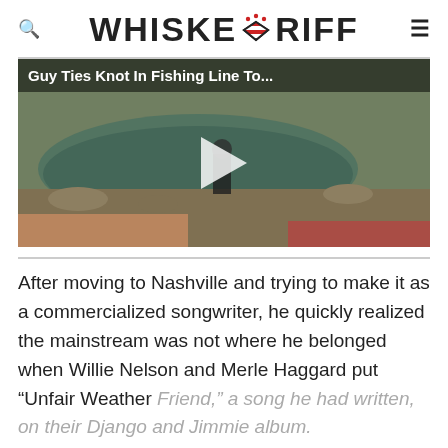WHISKEY RIFF
[Figure (screenshot): Video thumbnail showing a fishing scene near water with text overlay 'Guy Ties Knot In Fishing Line To...' and a play button in the center]
After moving to Nashville and trying to make it as a commercialized songwriter, he quickly realized the mainstream was not where he belonged when Willie Nelson and Merle Haggard put "Unfair Weather Friend," a song he had written, on their Django and Jimmie album.